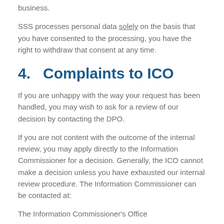business.
SSS processes personal data solely on the basis that you have consented to the processing, you have the right to withdraw that consent at any time.
4.   Complaints to ICO
If you are unhappy with the way your request has been handled, you may wish to ask for a review of our decision by contacting the DPO.
If you are not content with the outcome of the internal review, you may apply directly to the Information Commissioner for a decision. Generally, the ICO cannot make a decision unless you have exhausted our internal review procedure. The Information Commissioner can be contacted at:
The Information Commissioner's Office